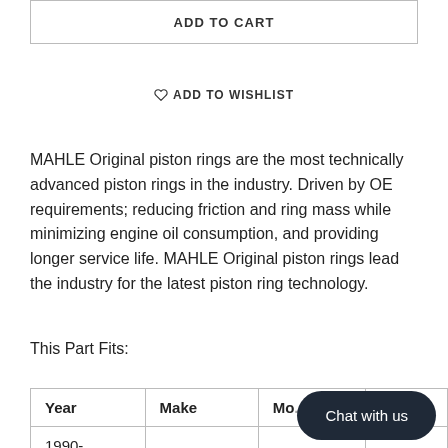ADD TO CART
♡ ADD TO WISHLIST
MAHLE Original piston rings are the most technically advanced piston rings in the industry. Driven by OE requirements; reducing friction and ring mass while minimizing engine oil consumption, and providing longer service life. MAHLE Original piston rings lead the industry for the latest piston ring technology.
This Part Fits:
| Year | Make | Mo... | Su |
| --- | --- | --- | --- |
| 1990- |  |  |  |
Chat with us